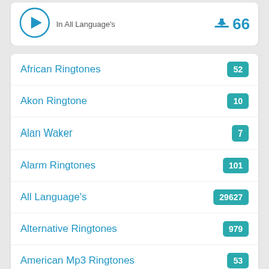[Figure (other): Top card with play button icon, 'In All Language's' text, and download icon with number 66]
African Ringtones 52
Akon Ringtone 10
Alan Waker 7
Alarm Ringtones 101
All Language's 29627
Alternative Ringtones 979
American Mp3 Ringtones 53